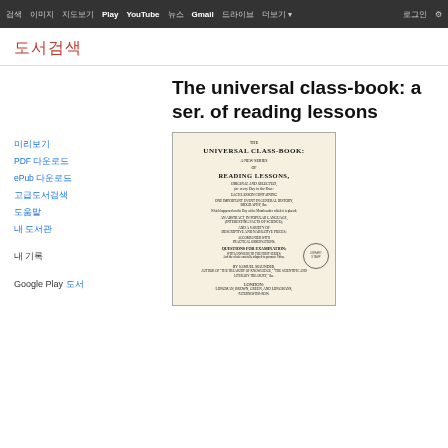검색 이미지 지도보기 Play YouTube 뉴스 Gmail 드라이브 더보기 로그인 설정
도서검색
미리보기
PDF 다운로드
ePub 다운로드
고급도서검색
도움말
내 도서관
내 기록
Google Play 도서
The universal class-book: a ser. of reading lessons
[Figure (photo): Scanned title page of 'The Universal Class-Book: A New Series of Reading Lessons, for every Day in the Year' by Samuel Maunder, published in London by Longman, Brown, Green, and Longmans.]